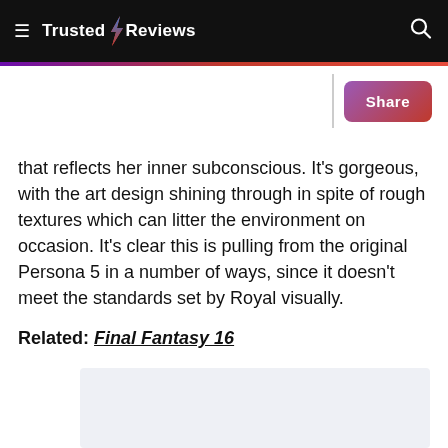Trusted Reviews
that reflects her inner subconscious. It’s gorgeous, with the art design shining through in spite of rough textures which can litter the environment on occasion. It’s clear this is pulling from the original Persona 5 in a number of ways, since it doesn’t meet the standards set by Royal visually.
Related: Final Fantasy 16
Advertisement